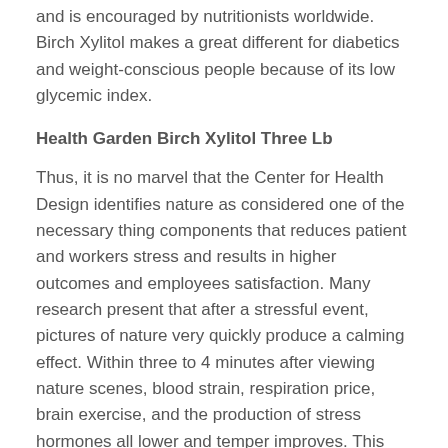and is encouraged by nutritionists worldwide. Birch Xylitol makes a great different for diabetics and weight-conscious people because of its low glycemic index.
Health Garden Birch Xylitol Three Lb
Thus, it is no marvel that the Center for Health Design identifies nature as considered one of the necessary thing components that reduces patient and workers stress and results in higher outcomes and employees satisfaction. Many research present that after a stressful event, pictures of nature very quickly produce a calming effect. Within three to 4 minutes after viewing nature scenes, blood strain, respiration price, brain exercise, and the production of stress hormones all lower and temper improves. This again has an evolutionary benefit because it permits us to recuperate and recover our energy rapidly. This capacity to recuperate from stress quickly to be able to be ready to reply to new threats was essential for our ancestors' survival.